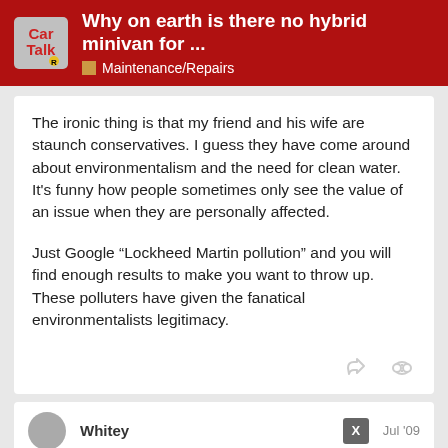Why on earth is there no hybrid minivan for ... Maintenance/Repairs
The ironic thing is that my friend and his wife are staunch conservatives. I guess they have come around about environmentalism and the need for clean water. It's funny how people sometimes only see the value of an issue when they are personally affected.
Just Google “Lockheed Martin pollution” and you will find enough results to make you want to throw up. These polluters have given the fanatical environmentalists legitimacy.
Whitey
Jul '09